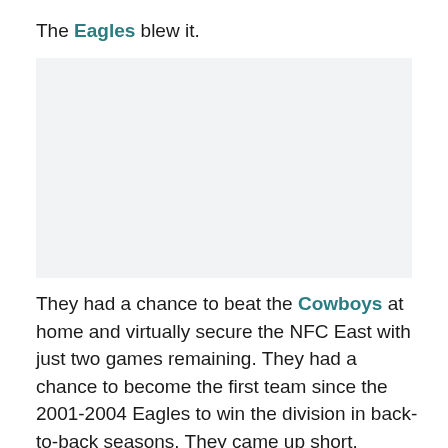The Eagles blew it.
[Figure (photo): A large image placeholder area (light gray background), likely a photo related to the Eagles vs Cowboys game.]
They had a chance to beat the Cowboys at home and virtually secure the NFC East with just two games remaining. They had a chance to become the first team since the 2001-2004 Eagles to win the division in back-to-back seasons. They came up short.